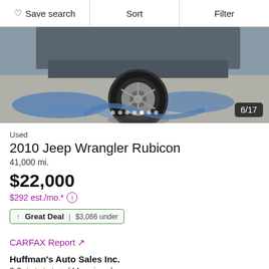Save search | Sort | Filter
[Figure (photo): Photo of Jeep Wrangler Rubicon wheel and undercarriage, wrapped in blue plastic, on concrete ground. Image counter shows 6/17, with navigation dots at bottom.]
Used
2010 Jeep Wrangler Rubicon
41,000 mi.
$22,000
$292 est./mo.*
Great Deal | $3,066 under
CARFAX Report ↗
Huffman's Auto Sales Inc.
3.8 ★★★★☆ (44 reviews)
15 mi. from 15611